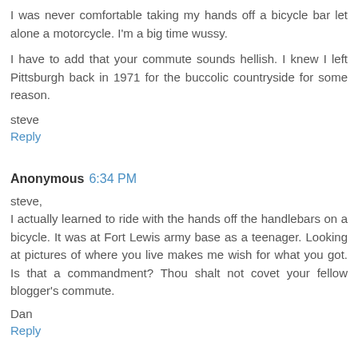I was never comfortable taking my hands off a bicycle bar let alone a motorcycle. I'm a big time wussy.
I have to add that your commute sounds hellish. I knew I left Pittsburgh back in 1971 for the buccolic countryside for some reason.
steve
Reply
Anonymous 6:34 PM
steve,
I actually learned to ride with the hands off the handlebars on a bicycle. It was at Fort Lewis army base as a teenager. Looking at pictures of where you live makes me wish for what you got. Is that a commandment? Thou shalt not covet your fellow blogger's commute.
Dan
Reply